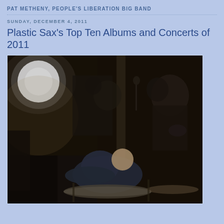PAT METHENY, PEOPLE'S LIBERATION BIG BAND
SUNDAY, DECEMBER 4, 2011
Plastic Sax's Top Ten Albums and Concerts of 2011
[Figure (photo): Blurry dark concert photo showing musicians performing, with bright stage light in upper left, and a drummer visible in the lower center/right area of the frame.]